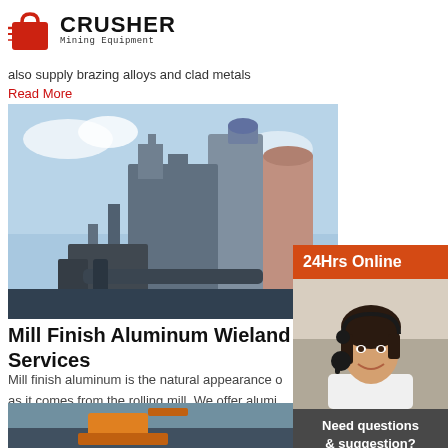[Figure (logo): Crusher Mining Equipment logo with red shopping bag icon and bold text]
also supply brazing alloys and clad metals
Read More
[Figure (photo): Industrial plant/mill facility with large metal structures, silos, and pipes against a blue sky]
Mill Finish Aluminum Wieland Metal Services
Mill finish aluminum is the natural appearance of aluminum as it comes from the rolling mill. We offer aluminum sheet and foil gauges in a wide variety of alloys, tempers, and finishes. These products can be supplied in both coils and lengths. We also supply brazing alloys and clad metals
Read More
[Figure (photo): Construction/mining site with orange excavator near water]
[Figure (photo): 24Hrs Online sidebar with woman wearing headset. Need questions & suggestion? Chat Now. Enquiry. limingjlmofen@sina.com]